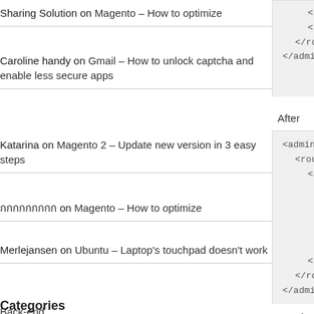Sharing Solution on Magento – How to optimize
Caroline handy on Gmail – How to unlock captcha and enable less secure apps
Katarina on Magento 2 – Update new version in 3 easy steps
กกกกกกกกก on Magento – How to optimize
Merlejansen on Ubuntu – Laptop's touchpad doesn't work
Categories
Back-end
Error
[Figure (screenshot): Code block (top, partial): </args> </adminhello> </routers> </admin>]
After
[Figure (screenshot): Code block: <admin> <routers> <adminhtml> <args> <modules> <adminhello before="Mage_Adm... </modules> </args> </adminhtml> </routers> </admin>]
1. Change to the Controller